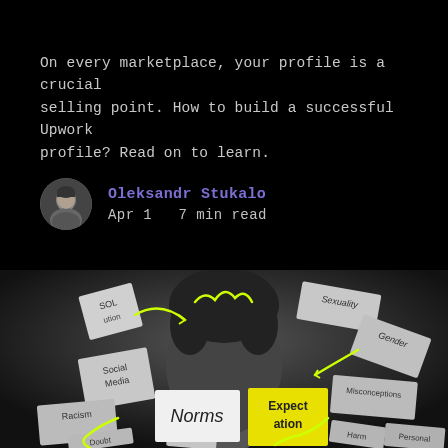On every marketplace, your profile is a crucial selling point. How to build a successful Upwork profile? Read on to learn.
Oleksandr Stukalo
Apr 1   7 min read
[Figure (photo): Black and white photo of a person with sticky notes on their face and around them, with yellow hand-drawn arrows. Sticky notes read: Norms, Expectation, Social Media, Racism, Doubt, Sexuality, Gender, Misconceptions, Harm, Personal, Ju[dgement], SOL[ution]]